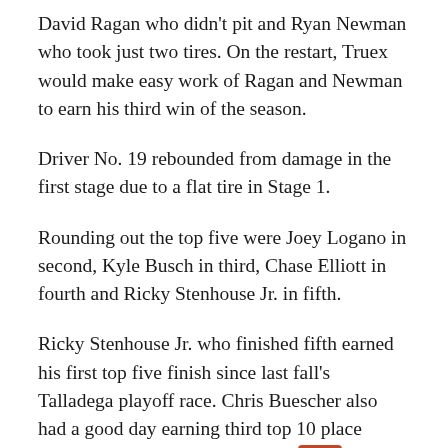David Ragan who didn't pit and Ryan Newman who took just two tires. On the restart, Truex would make easy work of Ragan and Newman to earn his third win of the season.
Driver No. 19 rebounded from damage in the first stage due to a flat tire in Stage 1.
Rounding out the top five were Joey Logano in second, Kyle Busch in third, Chase Elliott in fourth and Ricky Stenhouse Jr. in fifth.
Ricky Stenhouse Jr. who finished fifth earned his first top five finish since last fall's Talladega playoff race. Chris Buescher also had a good day earning third top 10 place finish of the season and best finish since the July Daytona race last year. Buescher finished sixth.